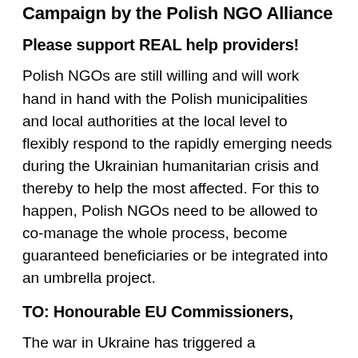Campaign by the Polish NGO Alliance
Please support REAL help providers!
Polish NGOs are still willing and will work hand in hand with the Polish municipalities and local authorities at the local level to flexibly respond to the rapidly emerging needs during the Ukrainian humanitarian crisis and thereby to help the most affected. For this to happen, Polish NGOs need to be allowed to co-manage the whole process, become guaranteed beneficiaries or be integrated into an umbrella project.
TO: Honourable EU Commissioners,
The war in Ukraine has triggered a humanitarian crisis. An estimated two million Ukrainian refugees have already arrived in the EU amid the illegal